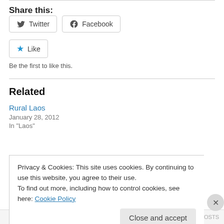Share this:
Twitter  Facebook
Like
Be the first to like this.
Related
Rural Laos
January 28, 2012
In "Laos"
Privacy & Cookies: This site uses cookies. By continuing to use this website, you agree to their use.
To find out more, including how to control cookies, see here: Cookie Policy
Close and accept